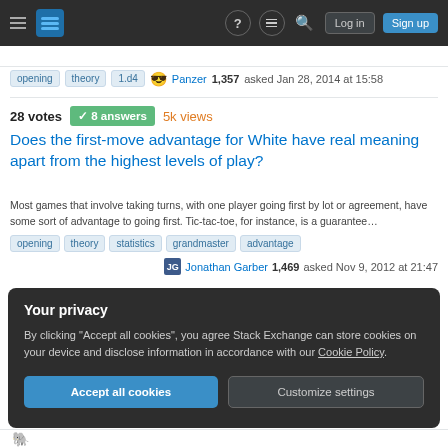Stack Exchange navigation bar with Log in and Sign up buttons
opening  theory  1.d4  Panzer 1,357 asked Jan 28, 2014 at 15:58
28 votes  8 answers  5k views
Does the first-move advantage for White have real meaning apart from the highest levels of play?
Most games that involve taking turns, with one player going first by lot or agreement, have some sort of advantage to going first. Tic-tac-toe, for instance, is a guarantee...
opening  theory  statistics  grandmaster  advantage
Jonathan Garber 1,469 asked Nov 9, 2012 at 21:47
Your privacy
By clicking "Accept all cookies", you agree Stack Exchange can store cookies on your device and disclose information in accordance with our Cookie Policy.
Accept all cookies  Customize settings